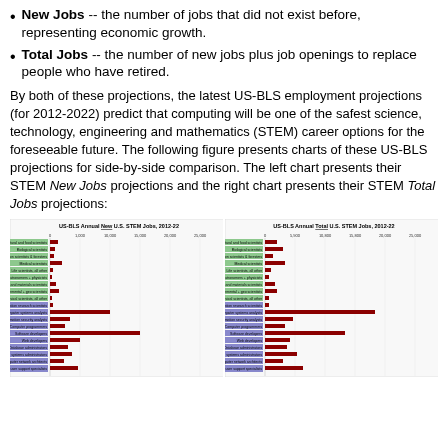New Jobs -- the number of jobs that did not exist before, representing economic growth.
Total Jobs -- the number of new jobs plus job openings to replace people who have retired.
By both of these projections, the latest US-BLS employment projections (for 2012-2022) predict that computing will be one of the safest science, technology, engineering and mathematics (STEM) career options for the foreseeable future. The following figure presents charts of these US-BLS projections for side-by-side comparison. The left chart presents their STEM New Jobs projections and the right chart presents their STEM Total Jobs projections:
[Figure (bar-chart): Horizontal bar chart showing US-BLS Annual New U.S. STEM Jobs 2012-22 with green bars for non-computing STEM and dark red bars for computing STEM categories]
[Figure (bar-chart): Horizontal bar chart showing US-BLS Annual Total U.S. STEM Jobs 2012-22 with green bars for non-computing STEM and dark red bars for computing STEM categories]